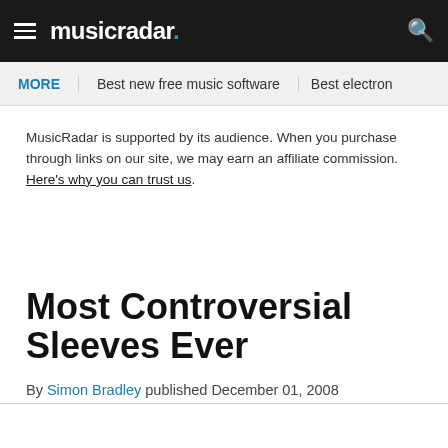musicradar.
MORE   Best new free music software   Best electron
MusicRadar is supported by its audience. When you purchase through links on our site, we may earn an affiliate commission. Here's why you can trust us.
Most Controversial Sleeves Ever
By Simon Bradley published December 01, 2008